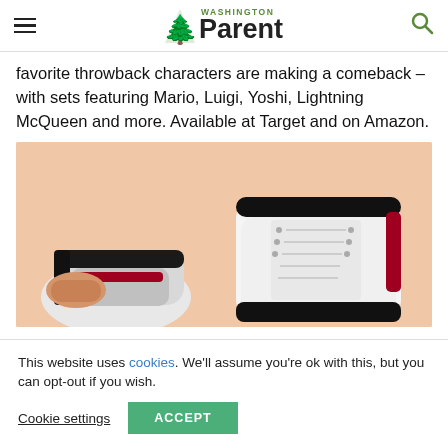Washington Parent
favorite throwback characters are making a comeback – with sets featuring Mario, Luigi, Yoshi, Lightning McQueen and more. Available at Target and on Amazon.
[Figure (photo): Photo of white high-top sneakers being held against a peach/salmon background, showing the detail of the shoe's laces and black trim.]
This website uses cookies. We'll assume you're ok with this, but you can opt-out if you wish.